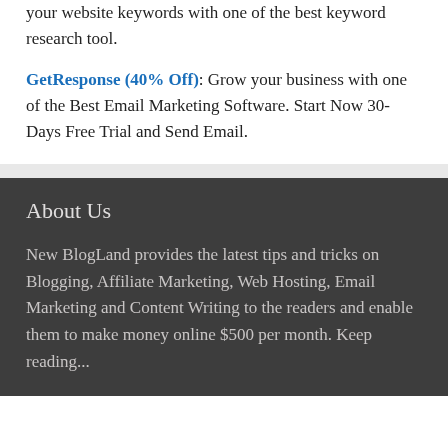your website keywords with one of the best keyword research tool.
GetResponse (40% Off): Grow your business with one of the Best Email Marketing Software. Start Now 30-Days Free Trial and Send Email.
About Us
New BlogLand provides the latest tips and tricks on Blogging, Affiliate Marketing, Web Hosting, Email Marketing and Content Writing to the readers and enable them to make money online $500 per month. Keep reading...